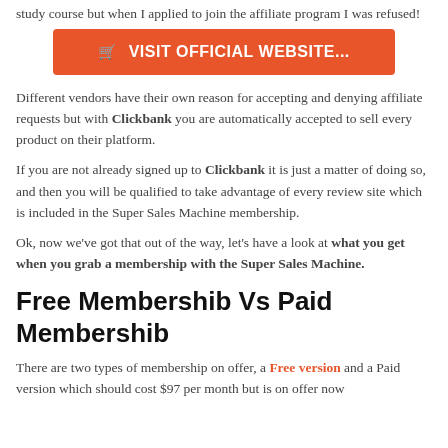study course but when I applied to join the affiliate program I was refused!
[Figure (other): Orange button with shopping cart icon reading VISIT OFFICIAL WEBSITE...]
Different vendors have their own reason for accepting and denying affiliate requests but with Clickbank you are automatically accepted to sell every product on their platform.
If you are not already signed up to Clickbank it is just a matter of doing so, and then you will be qualified to take advantage of every review site which is included in the Super Sales Machine membership.
Ok, now we've got that out of the way, let's have a look at what you get when you grab a membership with the Super Sales Machine.
Free Membershib Vs Paid Membershib
There are two types of membership on offer, a Free version and a Paid version which should cost $97 per month but is on offer now